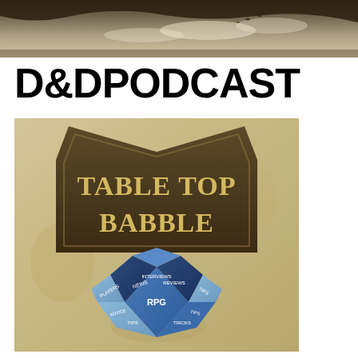[Figure (photo): Sky/landscape banner photo at the top of the page, showing a sepia-toned sky with clouds and dark landmass]
D&DPODCAST
[Figure (illustration): Table Top Babble podcast cover art showing a weathered parchment background with a dark brown house/tavern-shaped sign reading 'TABLE TOP BABBLE' in gold serif lettering, and below it a blue 20-sided dice (d20) with text on each face reading: INTERVIEWS, RPG, REVIEWS, TRICKS, TIPS, NEWS, PLAYERS, ADVICE, and other text]